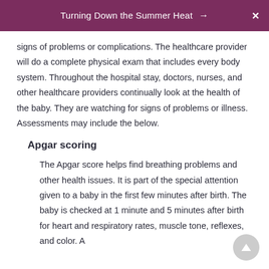Turning Down the Summer Heat →  ✕
signs of problems or complications. The healthcare provider will do a complete physical exam that includes every body system. Throughout the hospital stay, doctors, nurses, and other healthcare providers continually look at the health of the baby. They are watching for signs of problems or illness. Assessments may include the below.
Apgar scoring
The Apgar score helps find breathing problems and other health issues. It is part of the special attention given to a baby in the first few minutes after birth. The baby is checked at 1 minute and 5 minutes after birth for heart and respiratory rates, muscle tone, reflexes, and color. A